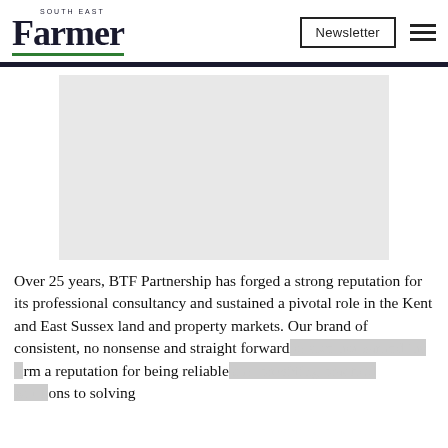South East Farmer — Newsletter
[Figure (photo): Light grey rectangular placeholder image, centered, representing an advertisement or article image]
Over 25 years, BTF Partnership has forged a strong reputation for its professional consultancy and sustained a pivotal role in the Kent and East Sussex land and property markets. Our brand of consistent, no nonsense and straight forward advice has earned the firm a reputation for being reliable and providing practical solutions to solving